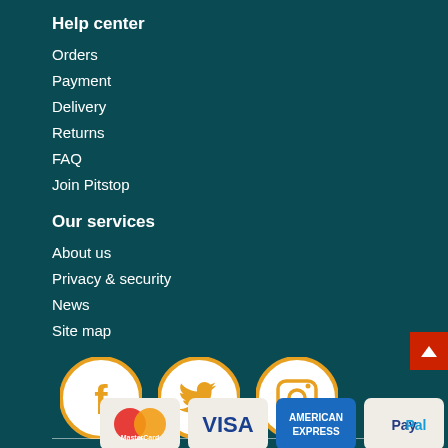Help center
Orders
Payment
Delivery
Returns
FAQ
Join Pitstop
Our services
About us
Privacy & security
News
Site map
[Figure (logo): Facebook icon circle (orange/gold border, white background, orange F logo)]
[Figure (logo): Twitter icon circle (orange/gold border, white background, orange bird logo)]
[Figure (logo): Instagram icon circle (orange/gold border, white background, orange camera logo)]
[Figure (logo): MasterCard payment logo on light card]
[Figure (logo): VISA payment logo on light card]
[Figure (logo): American Express payment logo on blue card]
[Figure (logo): PayPal payment logo on light card]